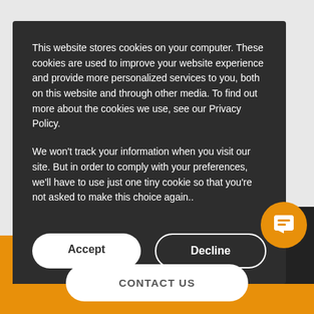This website stores cookies on your computer. These cookies are used to improve your website experience and provide more personalized services to you, both on this website and through other media. To find out more about the cookies we use, see our Privacy Policy.
We won't track your information when you visit our site. But in order to comply with your preferences, we'll have to use just one tiny cookie so that you're not asked to make this choice again..
[Figure (screenshot): Cookie consent modal with Accept and Decline buttons over a darkened website background showing movie/restaurant thumbnails. An orange chat bubble icon is visible in the bottom right of the modal.]
CONTACT US